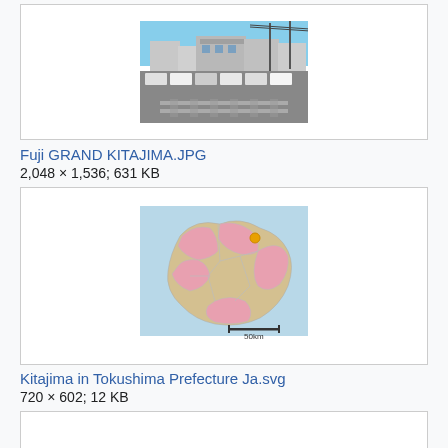[Figure (photo): Photo thumbnail of Fuji Grand Kitajima shopping center, street-level view with parking lot and utility poles]
Fuji GRAND KITAJIMA.JPG
2,048 × 1,536; 631 KB
[Figure (map): Map of Kitajima in Tokushima Prefecture, Japan, showing administrative boundaries with pink and tan colored regions, scale bar showing 50km]
Kitajima in Tokushima Prefecture Ja.svg
720 × 602; 12 KB